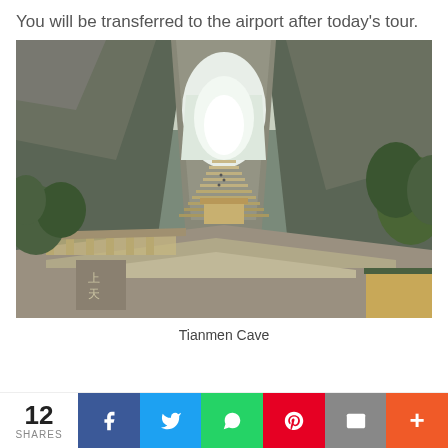You will be transferred to the airport after today's tour.
[Figure (photo): Tianmen Cave (Heaven's Gate) in Zhangjiajie, China. A dramatic natural stone arch opening framed by steep rocky cliffs on both sides with lush green vegetation. A long staircase descends from the cave opening down the mountain, with traditional Chinese gate structures and temple buildings in the foreground.]
Tianmen Cave
12 SHARES [Facebook] [Twitter] [WhatsApp] [Pinterest] [Email] [More]